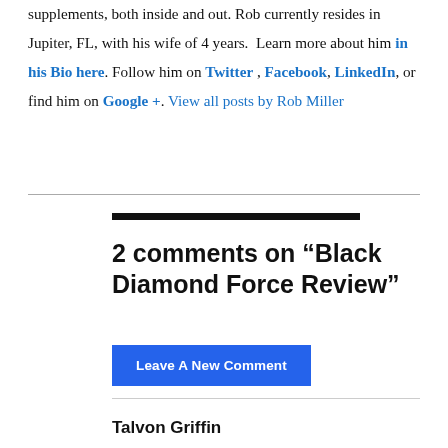supplements, both inside and out. Rob currently resides in Jupiter, FL, with his wife of 4 years.  Learn more about him in his Bio here. Follow him on Twitter , Facebook, LinkedIn, or find him on Google +. View all posts by Rob Miller
2 comments on “Black Diamond Force Review”
Leave A New Comment
Talvon Griffin